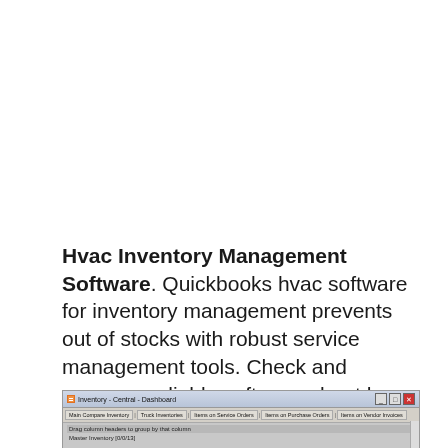Hvac Inventory Management Software. Quickbooks hvac software for inventory management prevents out of stocks with robust service management tools. Check and compare reliable software about hvac inventory software.
[Figure (screenshot): Screenshot of a Windows application titled 'Inventory - Central - Dashboard' showing tabs: Main Compare Inventory, Truck Inventories, Items on Service Orders, Items on Purchase Orders, Items on Vendor Invoices. Below the tabs is a gray content area with a highlighted row and partially visible text.]